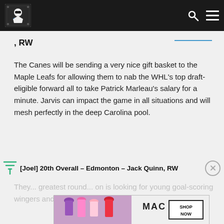The Rink - hockey news site logo, search and menu icons
, RW
The Canes will be sending a very nice gift basket to the Maple Leafs for allowing them to nab the WHL's top draft-eligible forward all to take Patrick Marleau's salary for a minute. Jarvis can impact the game in all situations and will mesh perfectly in the deep Carolina pool.
[Joel] 20th Overall – Edmonton – Jack Quinn, RW
They... round... on is looking for young goal-scoring wingers and Quinn happens
[Figure (other): MAC cosmetics advertisement showing lipsticks with SHOP NOW button]